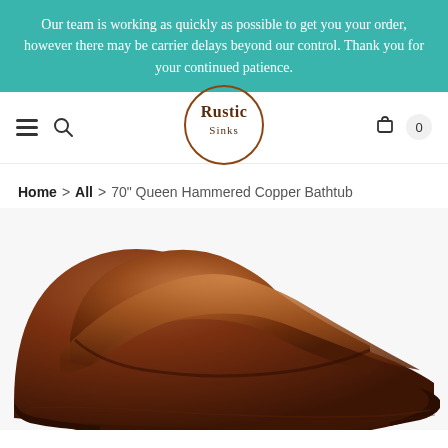Our team is working as quickly as possible to get you your order, however there may be carrier delays beyond our control. Thank you for your continued patience.
[Figure (logo): Rustic Sinks circular logo with text 'Rustic Sinks' in brown serif font inside a circle]
Home > All > 70" Queen Hammered Copper Bathtub
[Figure (photo): Close-up photo of a 70 inch Queen Hammered Copper Bathtub, showing the dark oxidized copper finish with a curved slipper tub shape against a white background]